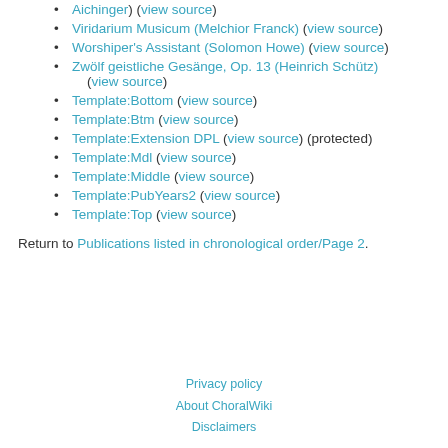Aichinger) (view source)
Viridarium Musicum (Melchior Franck) (view source)
Worshiper's Assistant (Solomon Howe) (view source)
Zwölf geistliche Gesänge, Op. 13 (Heinrich Schütz) (view source)
Template:Bottom (view source)
Template:Btm (view source)
Template:Extension DPL (view source) (protected)
Template:Mdl (view source)
Template:Middle (view source)
Template:PubYears2 (view source)
Template:Top (view source)
Return to Publications listed in chronological order/Page 2.
Privacy policy
About ChoralWiki
Disclaimers